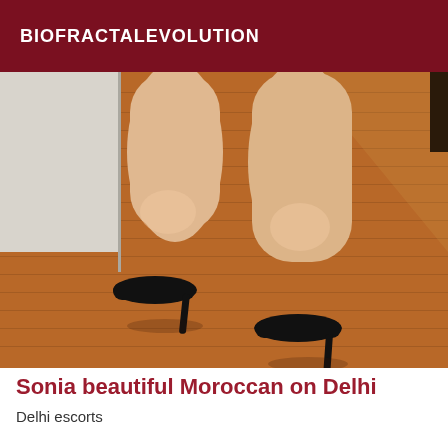BIOFRACTALEVOLUTION
[Figure (photo): Photo showing legs of a person wearing black high heel shoes, standing on a warm-toned hardwood floor. The background shows a white wall or door on the left side.]
Sonia beautiful Moroccan on Delhi
Delhi escorts